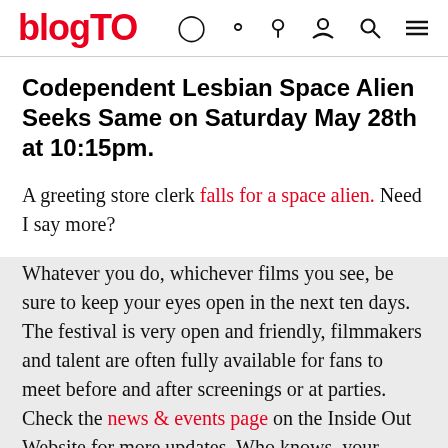blogTO
Codependent Lesbian Space Alien Seeks Same on Saturday May 28th at 10:15pm.
A greeting store clerk falls for a space alien. Need I say more?
Whatever you do, whichever films you see, be sure to keep your eyes open in the next ten days. The festival is very open and friendly, filmmakers and talent are often fully available for fans to meet before and after screenings or at parties. Check the news & events page on the Inside Out Website for more updates. Who knows, your favourite director could be at Buddies having a beer,